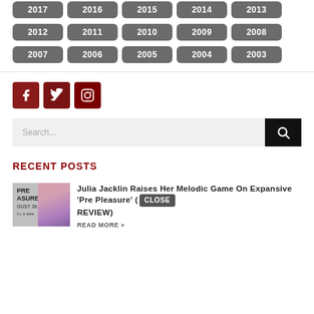2017 2016 2015 2014 2013 2012 2011 2010 2009 2008 2007 2006 2005 2004 2003
[Figure (infographic): Social media icons: Facebook, Twitter, Instagram in dark red square buttons]
[Figure (screenshot): Search bar with placeholder text 'Search...' and a black search button]
RECENT POSTS
[Figure (photo): Thumbnail image for Julia Jacklin Pre Pleasure album review article]
Julia Jacklin Raises Her Melodic Game On Expansive 'Pre Pleasure' (REVIEW)
READ MORE »